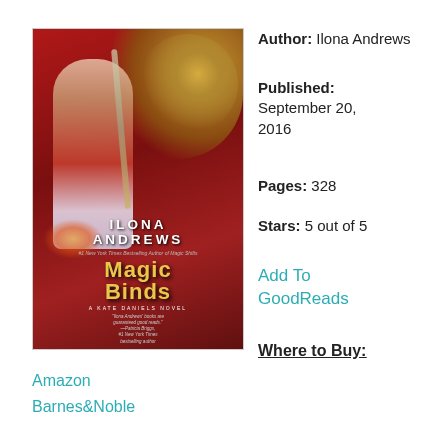[Figure (illustration): Book cover of 'Magic Binds' by Ilona Andrews, A Kate Daniels Novel. Features a woman with dark hair holding a sword, a lion in the background, and the title in gold text. Red dramatic background.]
Author: Ilona Andrews
Published: September 20, 2016
Pages: 328
Stars: 5 out of 5
Add To GoodReads
Where to Buy:
Amazon
Barnes&Noble